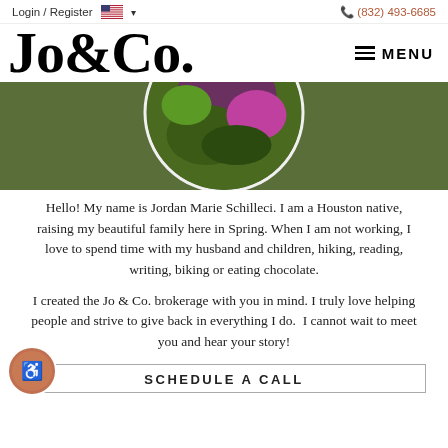Login / Register  🇺🇸 ▾  (832) 493-6685
Jo&Co.
[Figure (photo): Circular cropped photo of a person outdoors with colorful plants and flowers, purple background]
Hello! My name is Jordan Marie Schilleci. I am a Houston native, raising my beautiful family here in Spring. When I am not working, I love to spend time with my husband and children, hiking, reading, writing, biking or eating chocolate.
I created the Jo & Co. brokerage with you in mind. I truly love helping people and strive to give back in everything I do.  I cannot wait to meet you and hear your story!
SCHEDULE A CALL